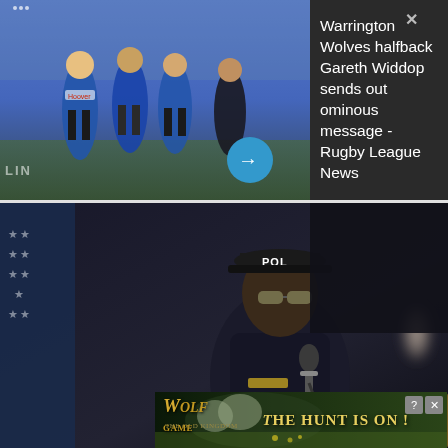[Figure (photo): Rugby league players in blue and yellow Warrington Wolves kit running on a pitch, with a dark overlay panel on the right containing news headline text. Blue arrow button overlay at bottom right of photo.]
Warrington Wolves halfback Gareth Widdop sends out ominous message - Rugby League News
[Figure (photo): A man in dark police uniform wearing a cap labeled 'POL' and sunglasses speaking at a podium with a microphone. An American flag is visible on the left. A blurred figure in a suit stands behind on the right. An X close button is visible at bottom right.]
[Figure (photo): Advertisement banner for Wolf Game showing wolves in a field with text 'THE HUNT IS ON!' in gold letters. Wolf Game logo on the left side. Question mark and X close icons in top right corner.]